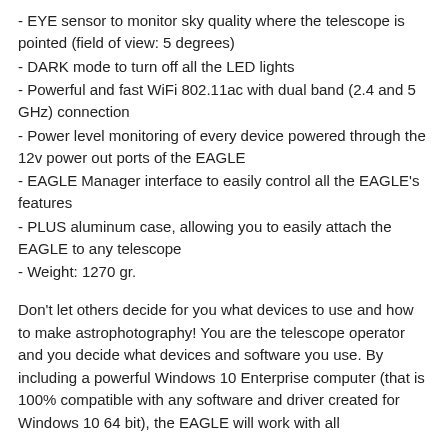- EYE sensor to monitor sky quality where the telescope is pointed (field of view: 5 degrees)
- DARK mode to turn off all the LED lights
- Powerful and fast WiFi 802.11ac with dual band (2.4 and 5 GHz) connection
- Power level monitoring of every device powered through the 12v power out ports of the EAGLE
- EAGLE Manager interface to easily control all the EAGLE's features
- PLUS aluminum case, allowing you to easily attach the EAGLE to any telescope
- Weight: 1270 gr.
Don't let others decide for you what devices to use and how to make astrophotography! You are the telescope operator and you decide what devices and software you use. By including a powerful Windows 10 Enterprise computer (that is 100% compatible with any software and driver created for Windows 10 64 bit), the EAGLE will work with all